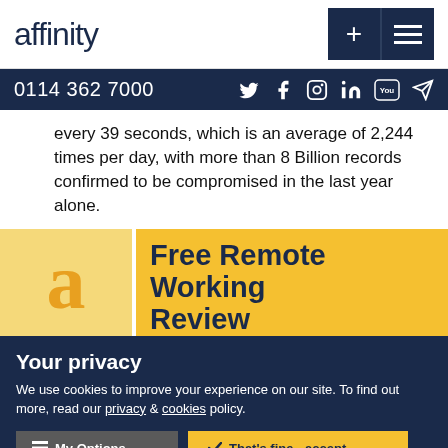affinity
0114 362 7000
every 39 seconds, which is an average of 2,244 times per day, with more than 8 Billion records confirmed to be compromised in the last year alone.
[Figure (logo): Affinity 'a' logo letter in orange on yellow background with 'Free Remote Working Review' text on yellow banner]
Free Remote Working Review
Your privacy
We use cookies to improve your experience on our site. To find out more, read our privacy & cookies policy.
My Options   That's fine - accept